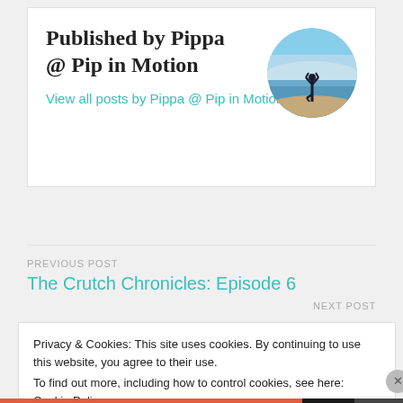Published by Pippa @ Pip in Motion
View all posts by Pippa @ Pip in Motion
[Figure (photo): Circular avatar photo of a person doing a yoga tree pose silhouetted against a sunset sky and ocean background]
PREVIOUS POST
The Crutch Chronicles: Episode 6
NEXT POST
Privacy & Cookies: This site uses cookies. By continuing to use this website, you agree to their use.
To find out more, including how to control cookies, see here: Cookie Policy
Close and accept